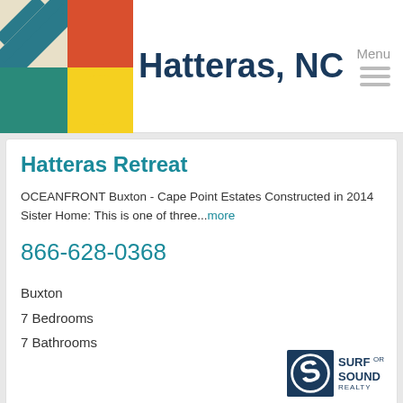Hatteras, NC
Hatteras Retreat
OCEANFRONT Buxton - Cape Point Estates Constructed in 2014 Sister Home: This is one of three...more
866-628-0368
Buxton
7 Bedrooms
7 Bathrooms
[Figure (logo): Surf or Sound Realty logo with stylized S wave mark]